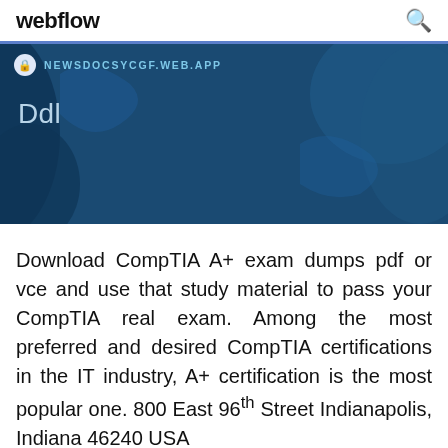webflow
[Figure (screenshot): Blue banner with URL bar showing NEWSDOCSYCGF.WEB.APP and the text 'Ddl' overlaid on a dark blue background with map-like shapes]
Download CompTIA A+ exam dumps pdf or vce and use that study material to pass your CompTIA real exam. Among the most preferred and desired CompTIA certifications in the IT industry, A+ certification is the most popular one. 800 East 96th Street Indianapolis, Indiana 46240 USA